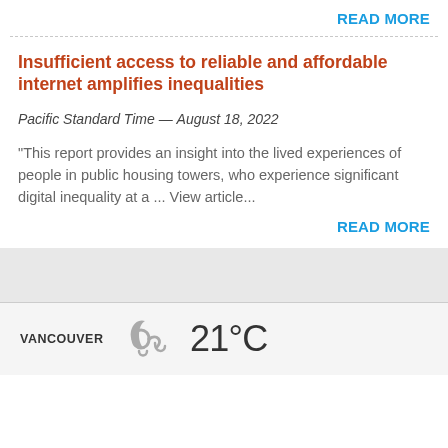READ MORE
Insufficient access to reliable and affordable internet amplifies inequalities
Pacific Standard Time — August 18, 2022
“This report provides an insight into the lived experiences of people in public housing towers, who experience significant digital inequality at a ... View article...
READ MORE
VANCOUVER  21°C